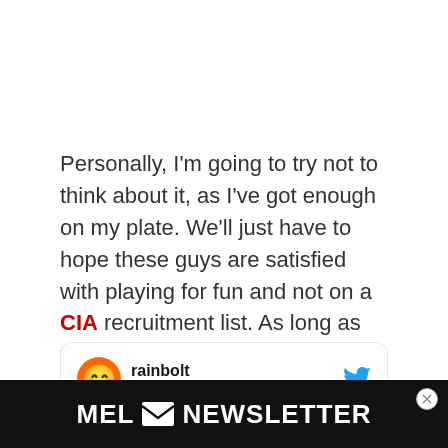Personally, I'm going to try not to think about it, as I've got enough on my plate. We'll just have to hope these guys are satisfied with playing for fun and not on a CIA recruitment list. As long as they continue to post regularly on TikTok and YouTube, we can trust them... right?
[Figure (screenshot): Tweet card showing user 'rainbolt' (@georainbolt) with a smiley face emoji avatar and a Follow button, Twitter bird logo in top right]
[Figure (screenshot): MEL Newsletter advertisement banner in black with white bold text reading 'MEL [envelope icon] NEWSLETTER' with an X close button]